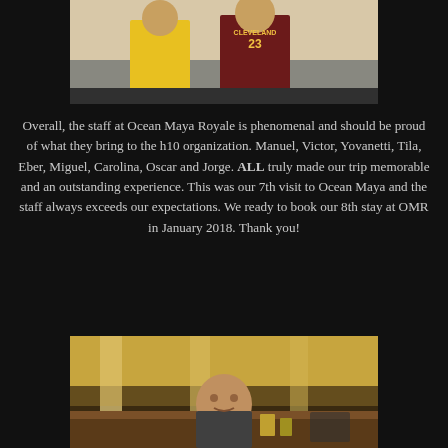[Figure (photo): Photo of two people, one wearing a Cleveland Cavaliers #23 jersey, taken indoors]
Overall, the staff at Ocean Maya Royale is phenomenal and should be proud of what they bring to the h10 organization. Manuel, Victor, Yovanetti, Tila, Eber, Miguel, Carolina, Oscar and Jorge. ALL truly made our trip memorable and an outstanding experience. This was our 7th visit to Ocean Maya and the staff always exceeds our expectations. We ready to book our 8th stay at OMR in January 2018. Thank you!
[Figure (photo): Photo of a man smiling at a bar or restaurant counter with warm ambient lighting]